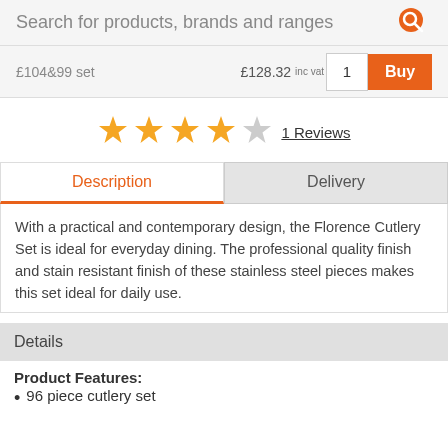Search for products, brands and ranges
1  Buy  inc vat
[Figure (other): 4 filled stars and 1 empty star rating]
1 Reviews
Description | Delivery (tabs)
With a practical and contemporary design, the Florence Cutlery Set is ideal for everyday dining. The professional quality finish and stain resistant finish of these stainless steel pieces makes this set ideal for daily use.
Details
Product Features:
96 piece cutlery set